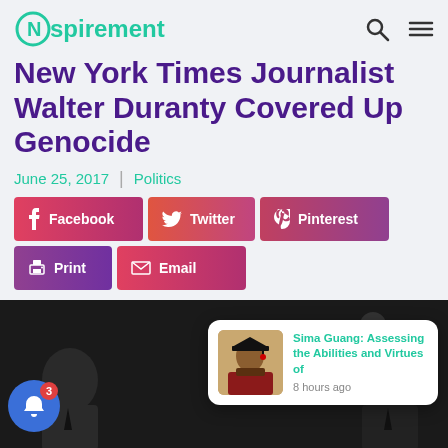Nspirement
New York Times Journalist Walter Duranty Covered Up Genocide
June 25, 2017  |  Politics
[Figure (infographic): Social share buttons: Facebook, Twitter, Pinterest, Print, Email]
[Figure (photo): Black and white photo of a person, with a notification popup showing 'Sima Guang: Assessing the Abilities and Virtues of' posted 8 hours ago, and a close X button]